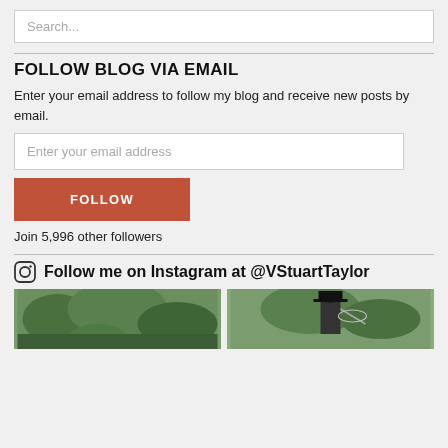Search...
FOLLOW BLOG VIA EMAIL
Enter your email address to follow my blog and receive new posts by email.
Enter your email address
FOLLOW
Join 5,996 other followers
Follow me on Instagram at @VStuartTaylor
[Figure (photo): Two Instagram photos side by side: left shows green trees/garden, right shows a person in formal attire with a top hat and umbrella outdoors.]